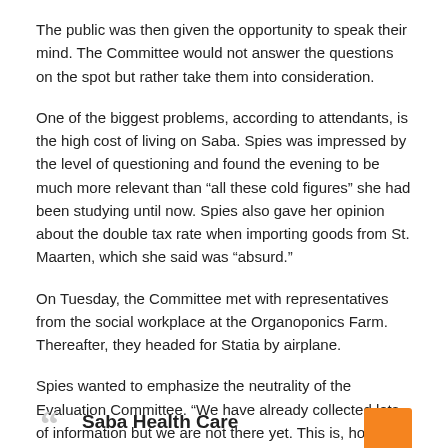The public was then given the opportunity to speak their mind. The Committee would not answer the questions on the spot but rather take them into consideration.
One of the biggest problems, according to attendants, is the high cost of living on Saba. Spies was impressed by the level of questioning and found the evening to be much more relevant than “all these cold figures” she had been studying until now. Spies also gave her opinion about the double tax rate when importing goods from St. Maarten, which she said was “absurd.”
On Tuesday, the Committee met with representatives from the social workplace at the Organoponics Farm. Thereafter, they headed for Statia by airplane.
Spies wanted to emphasize the neutrality of the Evaluation Committee. “We have already collected lots of information but we are not there yet. This is, however, a good start,” she explained.
Saba Health Care